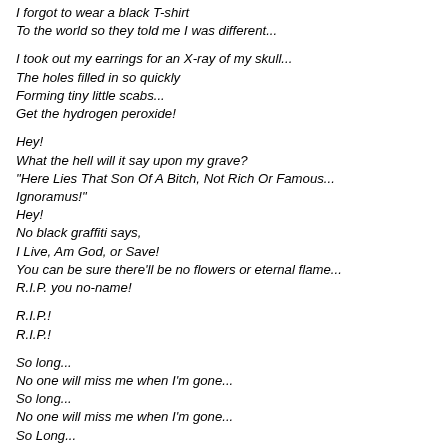I forgot to wear a black T-shirt
To the world so they told me I was different...
I took out my earrings for an X-ray of my skull...
The holes filled in so quickly
Forming tiny little scabs...
Get the hydrogen peroxide!
Hey!
What the hell will it say upon my grave?
"Here Lies That Son Of A Bitch, Not Rich Or Famous...
Ignoramus!"
Hey!
No black graffiti says,
I Live, Am God, or Save!
You can be sure there'll be no flowers or eternal flame...
R.I.P. you no-name!
R.I.P.!
R.I.P.!
So long...
No one will miss me when I'm gone...
So long...
No one will miss me when I'm gone...
So Long...
My gravesite will be blank and unmarked...
And underground alone in the dark...
I'll probably be a little pissed that
The world just keeps on spinning like I never existed!